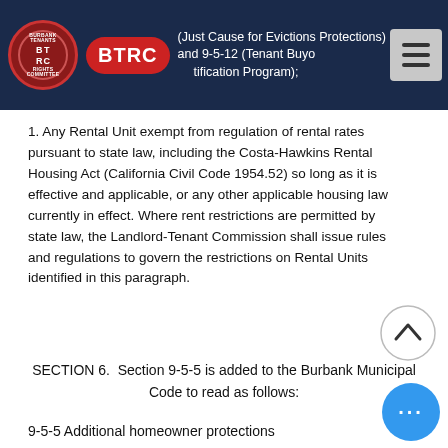(Just Cause for Evictions Protections) and 9-5-12 (Tenant Buyout Notification Program);
1. Any Rental Unit exempt from regulation of rental rates pursuant to state law, including the Costa-Hawkins Rental Housing Act (California Civil Code 1954.52) so long as it is effective and applicable, or any other applicable housing law currently in effect. Where rent restrictions are permitted by state law, the Landlord-Tenant Commission shall issue rules and regulations to govern the restrictions on Rental Units identified in this paragraph.
SECTION 6.  Section 9-5-5 is added to the Burbank Municipal Code to read as follows:
9-5-5 Additional homeowner protections